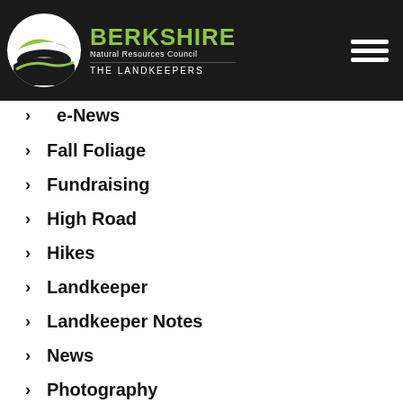Berkshire Natural Resources Council — The Landkeepers
e-News
Fall Foliage
Fundraising
High Road
Hikes
Landkeeper
Landkeeper Notes
News
Photography
Preservation
Properties
Uncategorized
Video
Volunteer